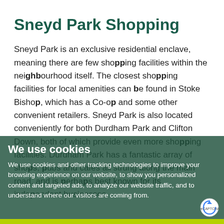Sneyd Park Shopping
Sneyd Park is an exclusive residential enclave, meaning there are few shopping facilities within the neighbourhood itself. The closest shopping facilities for local amenities can be found in Stoke Bishop, which has a Co-op and some other convenient retailers. Sneyd Park is also located conveniently for both Durdham Park and Clifton Down, both of which provide even more shopping facilities. Durdham Park has a fantastic array of shops, pubs and cafes all strung along the main road, and is perhaps best known for its independent businesses.
We use cookies
We use cookies and other tracking technologies to improve your browsing experience on our website, to show you personalized content and targeted ads, to analyze our website traffic, and to understand where our visitors are coming from.